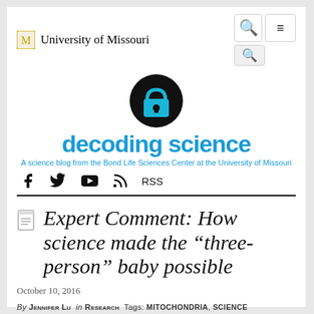University of Missouri
[Figure (logo): Decoding Science blog logo — black circle with open padlock icon in cyan/blue, with text 'decoding science' in bold cyan below and tagline 'A science blog from the Bond Life Sciences Center at the University of Missouri']
f  (twitter bird)  (youtube)  (rss)  RSS
Expert Comment: How science made the “three-person” baby possible
October 10, 2016
By Jennifer Lu  in Research  Tags: mitochondria, science communication